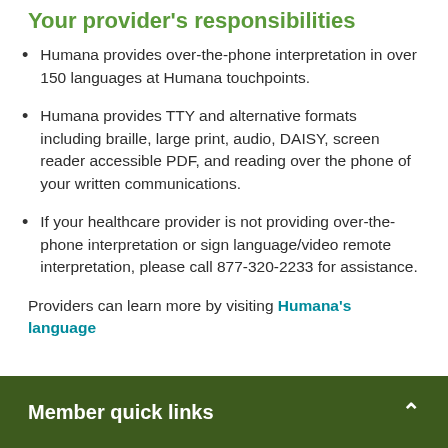Your provider's responsibilities
Humana provides over-the-phone interpretation in over 150 languages at Humana touchpoints.
Humana provides TTY and alternative formats including braille, large print, audio, DAISY, screen reader accessible PDF, and reading over the phone of your written communications.
If your healthcare provider is not providing over-the-phone interpretation or sign language/video remote interpretation, please call 877-320-2233 for assistance.
Providers can learn more by visiting Humana's language
Member quick links